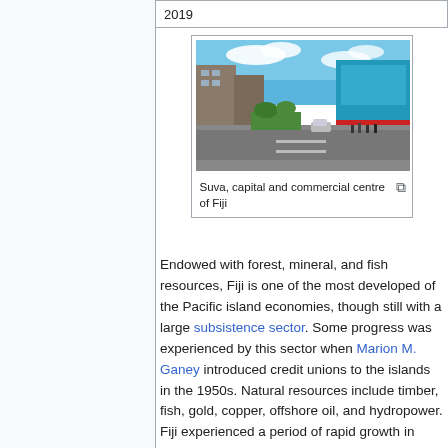| 2019 |
[Figure (photo): Street view of Suva, capital and commercial centre of Fiji, showing shops and a road with pedestrians and vehicles under a blue sky.]
Suva, capital and commercial centre of Fiji
Endowed with forest, mineral, and fish resources, Fiji is one of the most developed of the Pacific island economies, though still with a large subsistence sector. Some progress was experienced by this sector when Marion M. Ganey introduced credit unions to the islands in the 1950s. Natural resources include timber, fish, gold, copper, offshore oil, and hydropower. Fiji experienced a period of rapid growth in